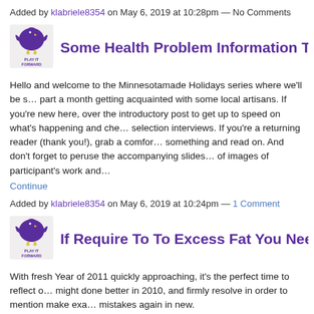Added by klabriele8354 on May 6, 2019 at 10:28pm — No Comments
[Figure (logo): Play It Forward logo — purple eagle/bird with text PLAY IT FORWARD]
Some Health Problem Information To Get A P…
Hello and welcome to the Minnesotamade Holidays series where we'll be s… part a month getting acquainted with some local artisans. If you're new here, over the introductory post to get up to speed on what's happening and chec… selection interviews. If you're a returning reader (thank you!), grab a comfor… something and read on. And don't forget to peruse the accompanying slides… of images of participant's work and…
Continue
Added by klabriele8354 on May 6, 2019 at 10:24pm — 1 Comment
[Figure (logo): Play It Forward logo — purple eagle/bird with text PLAY IT FORWARD]
If Require To To Excess Fat You Need To Rela…
With fresh Year of 2011 quickly approaching, it's the perfect time to reflect o… might done better in 2010, and firmly resolve in order to mention make exa… mistakes again in new.
Keeping wholesomely will keep the metabolism operating properly, which e… you burn that stomach flab more pretty much. If your diet plan lacks carbohy… minerals minerals, healthy fat and protein, it isn't nutritious. To get adequat… of…
Continue